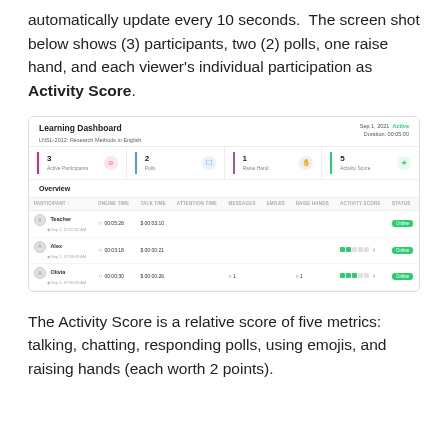automatically update every 10 seconds.  The screen shot below shows (3) participants, two (2) polls, one raise hand, and each viewer's individual participation as Activity Score.
[Figure (screenshot): Learning Dashboard screenshot showing 3 Active Participants, 2 Polls, 1 Raise Hand, and Activity Score columns with participants Teacher, Alex, and Olivia listed with their online time, talk time, attention time, messages, emojis, raise hands, activity score, and status (Online).]
The Activity Score is a relative score of five metrics: talking, chatting, responding polls, using emojis, and raising hands (each worth 2 points).